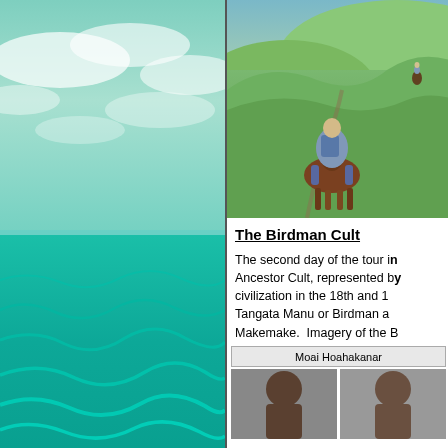[Figure (photo): Ocean scene with turquoise-green water and cloudy sky, teal-tinted photograph]
[Figure (photo): Person on horseback viewed from behind, riding up a green hillside with another rider in the distance]
The Birdman Cult
The second day of the tour in Ancestor Cult, represented by civilization in the 18th and 1 Tangata Manu or Birdman a Makemake.  Imagery of the B
Moai Hoahakanar
[Figure (photo): Two people photographed from behind, partially visible at bottom of page]